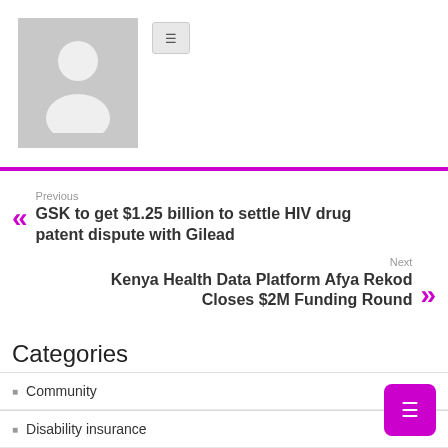[Figure (illustration): Gray placeholder avatar image showing a person silhouette]
Previous
GSK to get $1.25 billion to settle HIV drug patent dispute with Gilead
Next
Kenya Health Data Platform Afya Rekod Closes $2M Funding Round
Categories
Community
Disability insurance
Hiv care